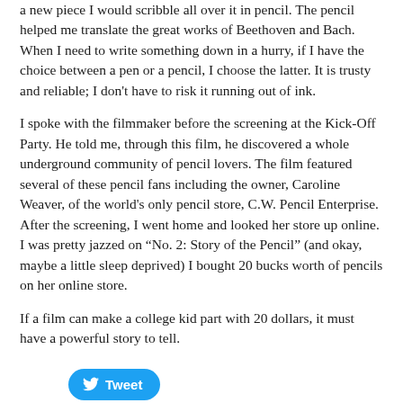a new piece I would scribble all over it in pencil. The pencil helped me translate the great works of Beethoven and Bach. When I need to write something down in a hurry, if I have the choice between a pen or a pencil, I choose the latter. It is trusty and reliable; I don't have to risk it running out of ink.
I spoke with the filmmaker before the screening at the Kick-Off Party. He told me, through this film, he discovered a whole underground community of pencil lovers. The film featured several of these pencil fans including the owner, Caroline Weaver, of the world's only pencil store, C.W. Pencil Enterprise. After the screening, I went home and looked her store up online. I was pretty jazzed on “No. 2: Story of the Pencil” (and okay, maybe a little sleep deprived) I bought 20 bucks worth of pencils on her online store.
If a film can make a college kid part with 20 dollars, it must have a powerful story to tell.
[Figure (other): Twitter Tweet button — blue rounded pill button with bird icon and 'Tweet' text]
1 Comment
Stopping to chat on the way to the film